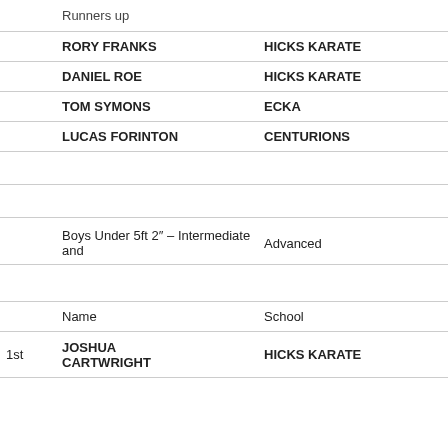|  | Runners up |  |
|  | RORY FRANKS | HICKS KARATE |
|  | DANIEL ROE | HICKS KARATE |
|  | TOM SYMONS | ECKA |
|  | LUCAS FORINTON | CENTURIONS |
|  |  |  |
|  | Boys Under 5ft 2" – Intermediate and | Advanced |
|  | Name | School |
| 1st | JOSHUA CARTWRIGHT | HICKS KARATE |